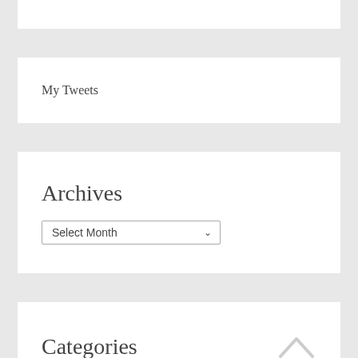My Tweets
Archives
Select Month
Categories